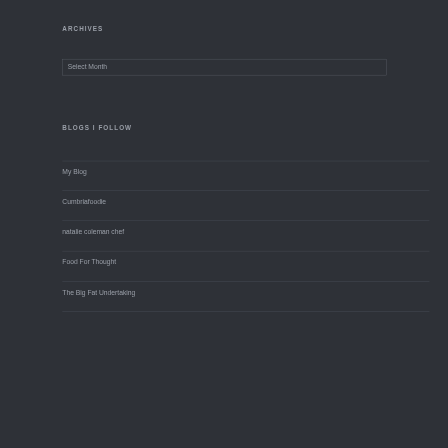ARCHIVES
Select Month
BLOGS I FOLLOW
My Blog
Cumbriafoodie
natalie coleman chef
Food For Thought
The Big Fat Undertaking